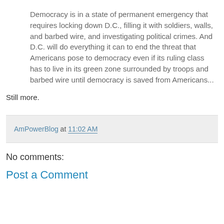Democracy is in a state of permanent emergency that requires locking down D.C., filling it with soldiers, walls, and barbed wire, and investigating political crimes. And D.C. will do everything it can to end the threat that Americans pose to democracy even if its ruling class has to live in its green zone surrounded by troops and barbed wire until democracy is saved from Americans...
Still more.
AmPowerBlog at 11:02 AM
No comments:
Post a Comment